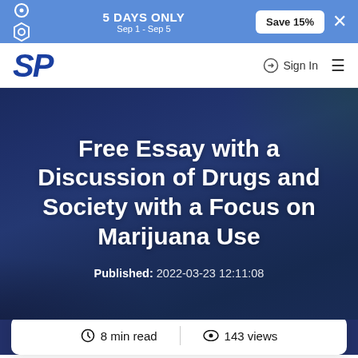5 DAYS ONLY Sep 1 - Sep 5 Save 15%
[Figure (logo): SP logo in dark blue italic bold text]
Sign In
Free Essay with a Discussion of Drugs and Society with a Focus on Marijuana Use
Published: 2022-03-23 12:11:08
8 min read  143 views